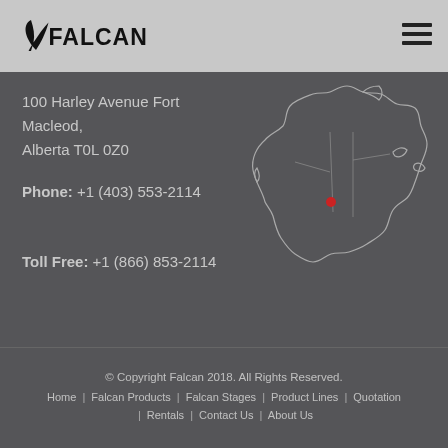FalCan
100 Harley Avenue Fort Macleod,
Alberta T0L 0Z0
Phone: +1 (403) 553-2114
Toll Free: +1 (866) 853-2114
[Figure (map): Outline map of Canada with a red dot marking the location of Fort Macleod, Alberta.]
© Copyright Falcan 2018. All Rights Reserved.
Home | Falcan Products | Falcan Stages | Product Lines | Quotation | Rentals | Contact Us | About Us